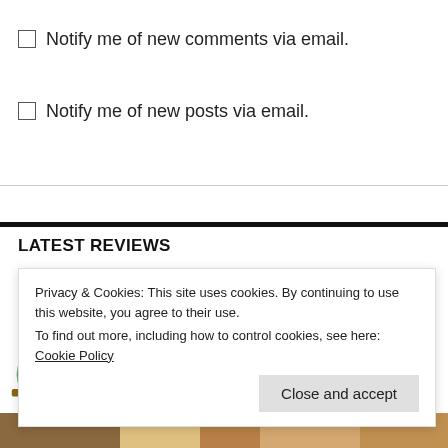Notify me of new comments via email.
Notify me of new posts via email.
LATEST REVIEWS
[Figure (illustration): Golden Boy manga logo with anime character sitting at a desk on the left and stylized gold metallic 'GOLDEN BOY' text logo on the right, with a red circular book icon overlay]
Privacy & Cookies: This site uses cookies. By continuing to use this website, you agree to their use.
To find out more, including how to control cookies, see here: Cookie Policy
Close and accept